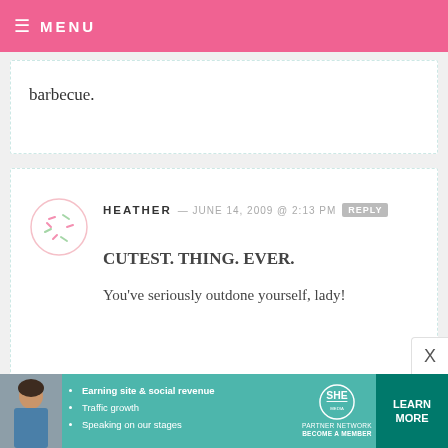MENU
barbecue.
HEATHER — JUNE 14, 2009 @ 2:13 PM  REPLY
CUTEST. THING. EVER.
You've seriously outdone yourself, lady!
SWEETDACEY — JUNE 14, 2009 @ 2:11 PM  REPLY
[Figure (infographic): SHE Partner Network advertisement banner with photo of woman, bullet points about earning site & social revenue, traffic growth, speaking on our stages, the SHE logo, and a Learn More button]